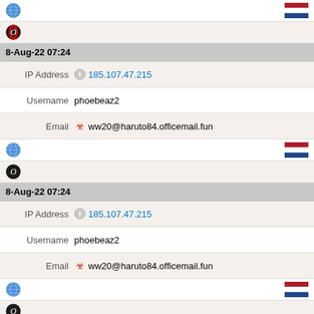| [globe icon] | [NL flag] |
| [opera icon] |  |
| 8-Aug-22 07:24 |  |
| IP Address | 185.107.47.215 |
| Username | phoebeaz2 |
| Email | ww20@haruto84.officemail.fun |
| [globe icon] | [NL flag] |
| [opera icon] |  |
| 8-Aug-22 07:24 |  |
| IP Address | 185.107.47.215 |
| Username | phoebeaz2 |
| Email | ww20@haruto84.officemail.fun |
| [globe icon] | [NL flag] |
| [opera icon] |  |
| 8-Aug-22 07:24 |  |
| IP Address | 185.107.47.215 |
| Username | phoebeaz2 |